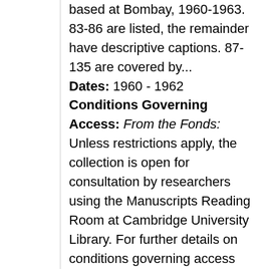based at Bombay, 1960-1963. 83-86 are listed, the remainder have descriptive captions. 87-135 are covered by... Dates: 1960 - 1962 Conditions Governing Access: From the Fonds: Unless restrictions apply, the collection is open for consultation by researchers using the Manuscripts Reading Room at Cambridge University Library. For further details on conditions governing access please contact mss@lib.cam.ac.uk. Information about opening hours and obtaining a Cambridge